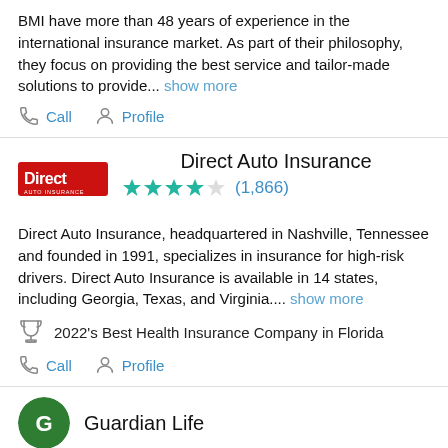BMI have more than 48 years of experience in the international insurance market. As part of their philosophy, they focus on providing the best service and tailor-made solutions to provide... show more
Call
Profile
Direct Auto Insurance
[Figure (logo): Direct Auto Insurance red logo]
★★★★☆ (1,866)
Direct Auto Insurance, headquartered in Nashville, Tennessee and founded in 1991, specializes in insurance for high-risk drivers. Direct Auto Insurance is available in 14 states, including Georgia, Texas, and Virginia.... show more
2022's Best Health Insurance Company in Florida
Call
Profile
Guardian Life